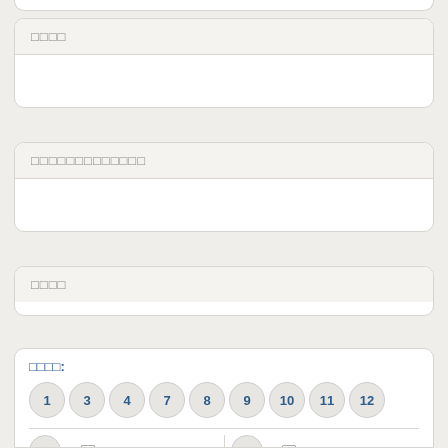□□□□
□□□□□□□□□□□□□
□□□□
□□□□:
1 3 4 7 8 9 10 11 12
1 — □   A dictionary of the English language
7 — □   Lives of the British poets, and other eminent literary persons,